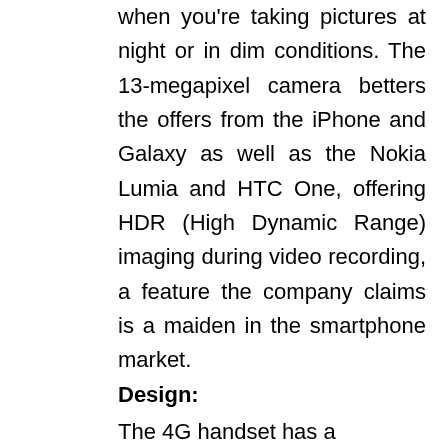when you're taking pictures at night or in dim conditions. The 13-megapixel camera betters the offers from the iPhone and Galaxy as well as the Nokia Lumia and HTC One, offering HDR (High Dynamic Range) imaging during video recording, a feature the company claims is a maiden in the smartphone market.
Design:
The 4G handset has a